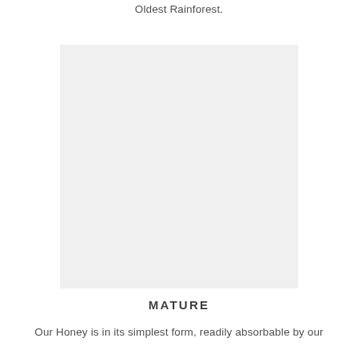Oldest Rainforest.
[Figure (photo): A large light grey placeholder image rectangle representing a photo.]
MATURE
Our Honey is in its simplest form, readily absorbable by our